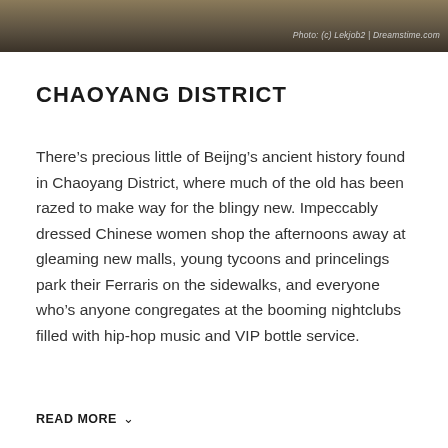[Figure (photo): Aerial or landscape photo of Chaoyang District, Beijing, shown as a decorative header image with dark overlay]
Photo: (c) Lekjob2 | Dreamstime.com
CHAOYANG DISTRICT
There’s precious little of Beijng’s ancient history found in Chaoyang District, where much of the old has been razed to make way for the blingy new. Impeccably dressed Chinese women shop the afternoons away at gleaming new malls, young tycoons and princelings park their Ferraris on the sidewalks, and everyone who’s anyone congregates at the booming nightclubs filled with hip-hop music and VIP bottle service.
READ MORE ∨